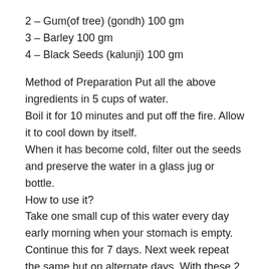2 – Gum(of tree) (gondh) 100 gm
3 – Barley 100 gm
4 – Black Seeds (kalunji) 100 gm
Method of Preparation Put all the above ingredients in 5 cups of water.
Boil it for 10 minutes and put off the fire. Allow it to cool down by itself.
When it has become cold, filter out the seeds and preserve the water in a glass jug or bottle.
How to use it?
Take one small cup of this water every day early morning when your stomach is empty.
Continue this for 7 days. Next week repeat the same but on alternate days. With these 2 weeks of treatment